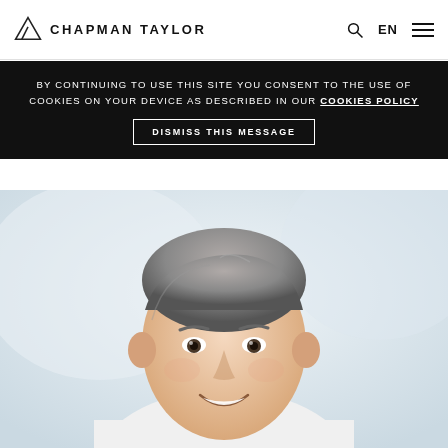CHAPMAN TAYLOR
BY CONTINUING TO USE THIS SITE YOU CONSENT TO THE USE OF COOKIES ON YOUR DEVICE AS DESCRIBED IN OUR COOKIES POLICY
DISMISS THIS MESSAGE
[Figure (photo): Headshot portrait of a middle-aged man with grey hair wearing a white shirt, smiling, against a light blurred background.]